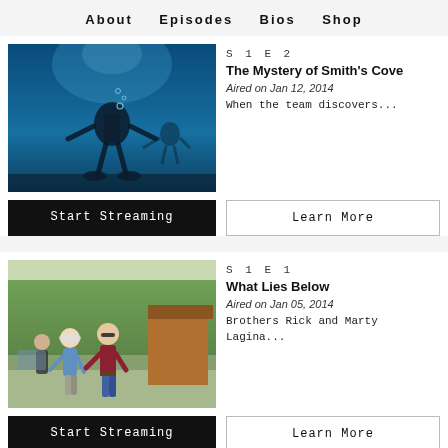About   Episodes   Bios   Shop
[Figure (photo): Scuba diver underwater in blue water, silhouetted against light from above]
S 1 E 2
The Mystery of Smith's Cove
Aired on Jan 12, 2014
When the team discovers...
Start Streaming
Learn More
[Figure (photo): Two men walking outdoors near trees and a wooden shed, one wearing a white cap and blue shirt, another in a dark red shirt with sunglasses]
S 1 E 1
What Lies Below
Aired on Jan 05, 2014
Brothers Rick and Marty Lagina...
Start Streaming
Learn More